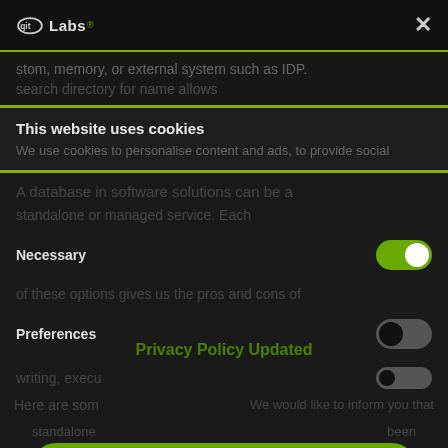[Figure (screenshot): Cookie consent modal dialog overlaying a dark-themed website. The modal shows: qitLabs logo and X close button at top, horizontal gold/green divider, 'This website uses cookies' title, cookie description text, Necessary toggle (green/on), Preferences toggle (dark/off), 'Privacy Policy Updated' text overlay, partial third toggle row, 'Allow all' green pill button, 'Deny' white pill button. Background shows blurred article text about databases.]